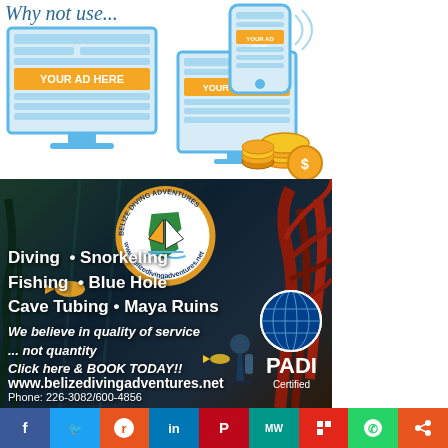[Figure (illustration): Digital advertising illustration showing desktop monitor, tablet, and phone with 'YOUR AD HERE' banners and gold coins]
[Figure (photo): Belize Diving Adventures advertisement showing underwater coral reef scene with diver, company logo, services list (Diving, Snorkeling, Fishing, Blue Hole, Cave Tubing, Maya Ruins), tagline 'We believe in quality of service... not quantity Click here & BOOK TODAY!!', website www.belizedivingadventures.net, Phone: 226-3082/600-4856, PADI Certified badge]
[Figure (infographic): Social media sharing buttons bar: Facebook (blue), Twitter (light blue), Reddit (orange-red), LinkedIn (blue), Pinterest (red), MW (teal), Flipboard (orange-red), WhatsApp (green), Share (orange)]